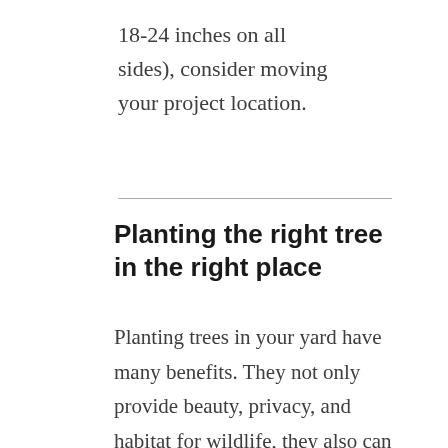18-24 inches on all sides), consider moving your project location.
Planting the right tree in the right place
Planting trees in your yard have many benefits. They not only provide beauty, privacy, and habitat for wildlife, they also can help homes become more